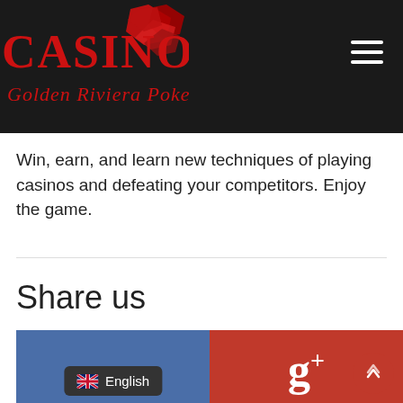[Figure (logo): Casino Golden Riviera Poker logo with red gem/diamond cluster icon on dark background, red serif text reading CASINO above cursive Golden Riviera Poker]
Win, earn, and learn new techniques of playing casinos and defeating your competitors. Enjoy the game.
Share us
[Figure (screenshot): Share bar with blue Facebook section showing English language pill button with UK flag, and red Google+ section with g+ logo and red scroll-to-top button]